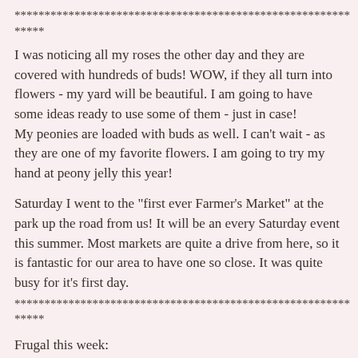********************************************************
*****
I was noticing all my roses the other day and they are covered with hundreds of buds!  WOW, if they all turn into flowers - my yard will be beautiful.  I am going to have some ideas ready to use some of them - just in case!
My peonies are loaded with buds as well.  I can't wait - as they are one of my favorite flowers.  I am going to try my hand at peony jelly this year!
Saturday I went to the "first ever Farmer's Market" at the park up the road from us!  It will be an every Saturday event this summer.  Most markets are quite a drive from here, so it is fantastic for our area to have one so close.  It was quite busy for it's first day.
********************************************************
*****
Frugal this week:
I am again tossing and de-cluttering (we had a lot of rain this week - so worked inside)